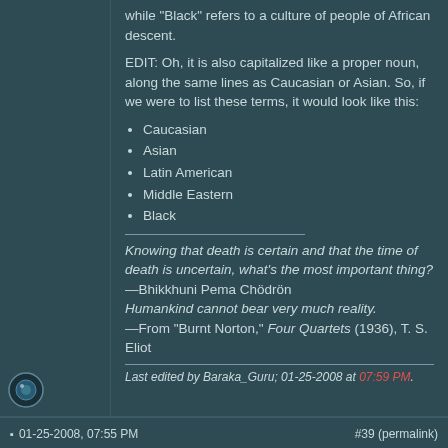while "Black" refers to a culture of people of African descent.
EDIT: Oh, it is also capitalized like a proper noun, along the same lines as Caucasian or Asian. So, if we were to list these terms, it would look like this:
Caucasian
Asian
Latin American
Middle Eastern
Black
Knowing that death is certain and that the time of death is uncertain, what's the most important thing?
—Bhikkhuni Pema Chödrön
Humankind cannot bear very much reality.
—From "Burnt Norton," Four Quartets (1936), T. S. Eliot
Last edited by Baraka_Guru; 01-25-2008 at 07:59 PM.
01-25-2008, 07:55 PM   #39 (permalink)